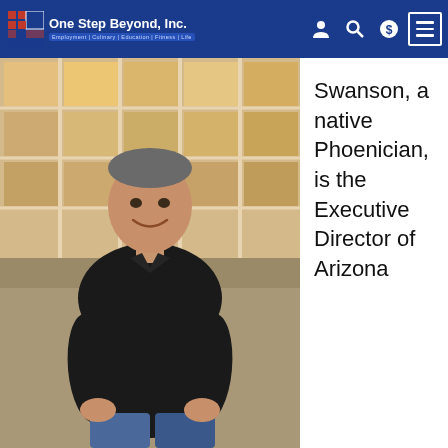One Step Beyond, Inc. — Employment | Culinary | Education | Fitness | Life
[Figure (photo): Man in black polo shirt standing in front of a garage door with glass panels, smiling, photographed outdoors in warm light]
Swanson, a native Phoenician, is the Executive Director of Arizona